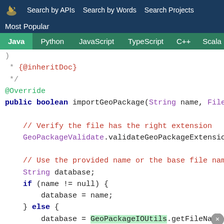Search by APIs   Search by Words   Search Projects
Most Popular
Java  Python  JavaScript  TypeScript  C++  Scala
[Figure (screenshot): Java code snippet showing importGeoPackage method with @Override annotation, JavaDoc comment with {@inheritDoc}, and code body including GeoPackageValidate.validateGeoPackageExtension(), String database variable, if/else block with database = name and database = GeoPackageIOUtils.getFileNameWith...]
Close button overlay (x)